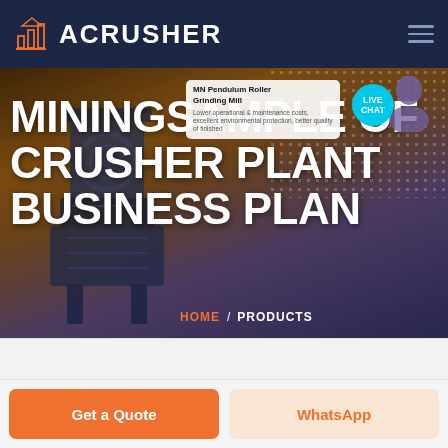ACRUSHER
MININGSAMPLE OF CRUSHER PLANT BUSINESS PLAN
[Figure (screenshot): Background hero image of industrial crusher equipment with brownish-dark overlay]
MN Pendulum Roller Grinding Mill
Lower operational & maintenance costs, excellent environmental protection, better quality of finished
LIVE CHAT
HOME / PRODUCTS
Get a Quote
WhatsApp